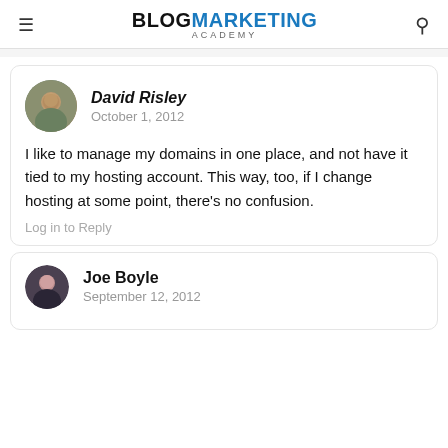BLOG MARKETING ACADEMY
David Risley
October 1, 2012
I like to manage my domains in one place, and not have it tied to my hosting account. This way, too, if I change hosting at some point, there's no confusion.
Log in to Reply
Joe Boyle
September 12, 2012